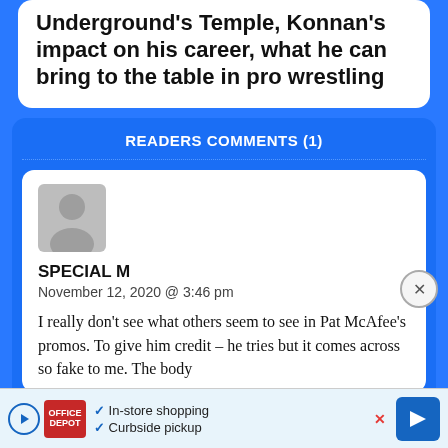Underground's Temple, Konnan's impact on his career, what he can bring to the table in pro wrestling
READERS COMMENTS (1)
SPECIAL M
November 12, 2020 @ 3:46 pm
I really don't see what others seem to see in Pat McAfee's promos. To give him credit – he tries but it comes across so fake to me. The body
In-store shopping
Curbside pickup